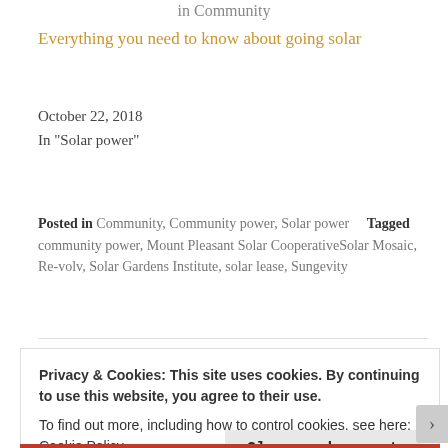in Community
Everything you need to know about going solar
October 22, 2018
In "Solar power"
Posted in Community, Community power, Solar power Tagged community power, Mount Pleasant Solar CooperativeSolar Mosaic, Re-volv, Solar Gardens Institute, solar lease, Sungevity
Privacy & Cookies: This site uses cookies. By continuing to use this website, you agree to their use.
To find out more, including how to control cookies, see here: Cookie Policy